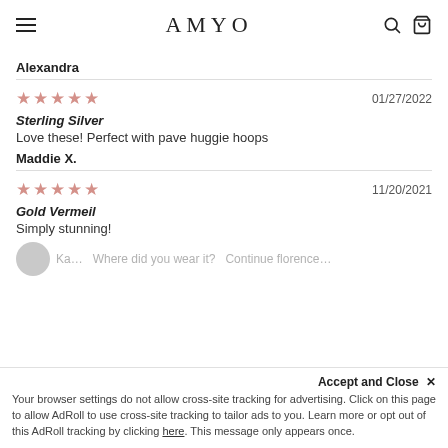AMYO
Alexandra
★★★★★  01/27/2022
Sterling Silver
Love these! Perfect with pave huggie hoops
Maddie X.
★★★★★  11/20/2021
Gold Vermeil
Simply stunning!
Accept and Close ×
Your browser settings do not allow cross-site tracking for advertising. Click on this page to allow AdRoll to use cross-site tracking to tailor ads to you. Learn more or opt out of this AdRoll tracking by clicking here. This message only appears once.